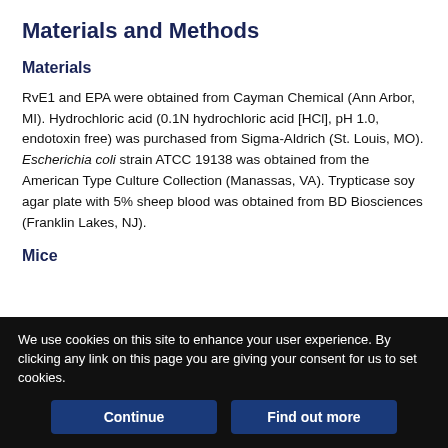Materials and Methods
Materials
RvE1 and EPA were obtained from Cayman Chemical (Ann Arbor, MI). Hydrochloric acid (0.1N hydrochloric acid [HCl], pH 1.0, endotoxin free) was purchased from Sigma-Aldrich (St. Louis, MO). Escherichia coli strain ATCC 19138 was obtained from the American Type Culture Collection (Manassas, VA). Trypticase soy agar plate with 5% sheep blood was obtained from BD Biosciences (Franklin Lakes, NJ).
Mice
We use cookies on this site to enhance your user experience. By clicking any link on this page you are giving your consent for us to set cookies.